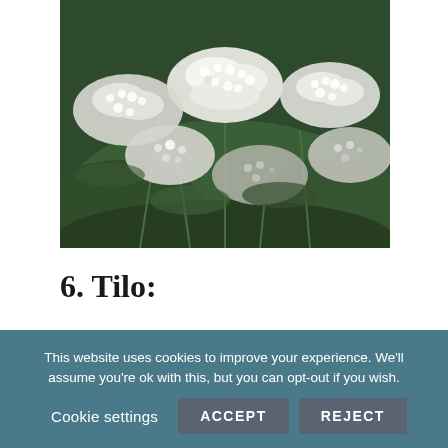[Figure (photo): Close-up photo of white yarrow flowers (small clustered white blooms) with green foliage in the background]
6. Tilo:
“Tranquillo tilo” as it’s often referred to because it makes you super tranquil and is often used to aid in sleep. Tilo tea is perfect before bed. Celia shares “I use
This website uses cookies to improve your experience. We’ll assume you’re ok with this, but you can opt-out if you wish.
Cookie settings   ACCEPT   REJECT